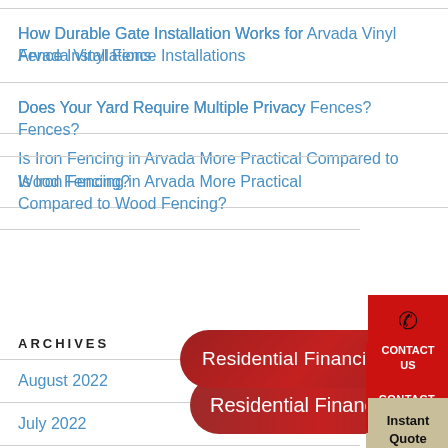How Durable Gate Installation Works for Arvada Vinyl Fence Installations
Does Your Yard Require Multiple Privacy Fences?
Is Iron Fencing in Arvada More Practical Compared to Wood Fencing?
[Figure (infographic): Red rounded banner reading 'Residential Financing Available']
[Figure (infographic): Red contact button with phone icon and text 'CONTACT US']
[Figure (infographic): Tan/beige box with 'Instant Quote' and 'CLICK HERE']
ARCHIVES
August 2022
July 2022
June 2022
May 2022